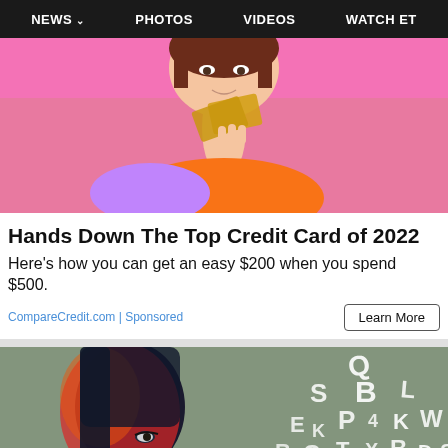NEWS  PHOTOS  VIDEOS  WATCH ET
[Figure (photo): Woman with pink background holding gold credit cards near her face]
Hands Down The Top Credit Card of 2022
Here's how you can get an easy $200 when you spend $500.
CompareCredit.com | Sponsored
[Figure (photo): Woman with colorful red/orange artistic overlay on left, scattered white letters on grey-green background on right]